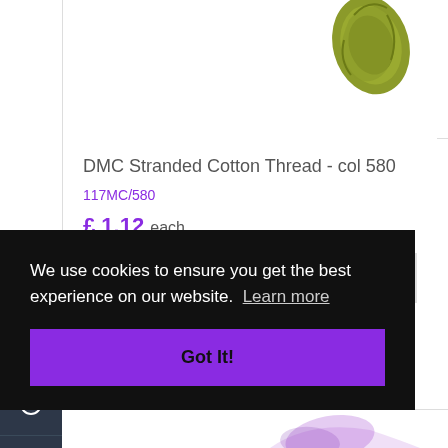[Figure (photo): Partial view of olive/yellow-green DMC embroidery thread skein at top right of product image area]
DMC Stranded Cotton Thread - col 580
117MC/580
£ 1.12 each
1 item in stock
We use cookies to ensure you get the best experience on our website. Learn more
Got It!